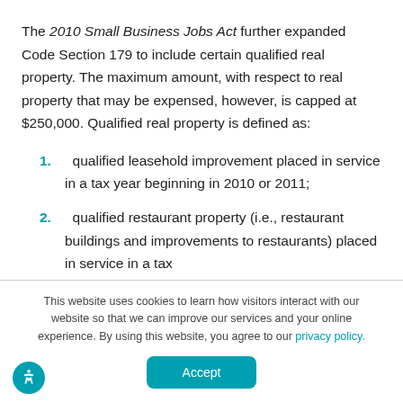The 2010 Small Business Jobs Act further expanded Code Section 179 to include certain qualified real property. The maximum amount, with respect to real property that may be expensed, however, is capped at $250,000. Qualified real property is defined as:
qualified leasehold improvement placed in service in a tax year beginning in 2010 or 2011;
qualified restaurant property (i.e., restaurant buildings and improvements to restaurants) placed in service in a tax
This website uses cookies to learn how visitors interact with our website so that we can improve our services and your online experience. By using this website, you agree to our privacy policy.